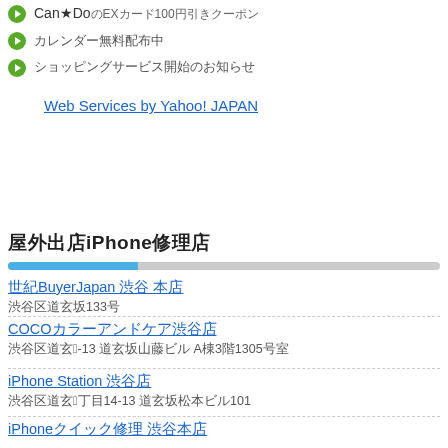Can★DoのEXカード100円引きクーポン
カレンダー無料配布中
ショッピングサービス開始のお知らせ
Web Services by Yahoo! JAPAN
近くのiPhone修理店
世紀BuyerJapan 渋谷 本店
渋谷区道玄坂133号
COCOカラーアンドケア渋谷店
渋谷区道玄坂1-13 道玄坂山藤ビル A棟3階1305号室
iPhone Station 渋谷店
渋谷区道玄坂2丁目14-13 道玄坂松本ビル101
iPhoneクイック修理 渋谷本店